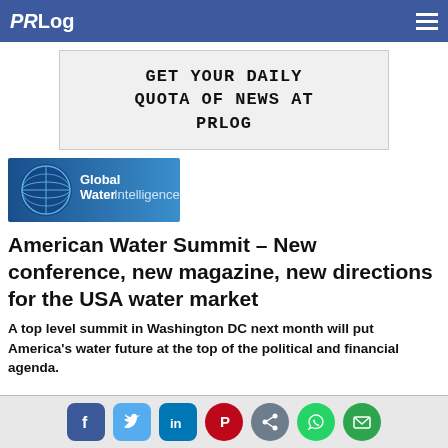PRLog
[Figure (other): PRLog website advertisement banner with text: GET YOUR DAILY QUOTA OF NEWS AT PRLOG in digital/LCD style font]
[Figure (logo): Global Water Intelligence logo - blue banner with globe and white text]
American Water Summit – New conference, new magazine, new directions for the USA water market
A top level summit in Washington DC next month will put America's water future at the top of the political and financial agenda.
Social sharing icons: Facebook, Twitter, LinkedIn, Pinterest, Share, WhatsApp, Email